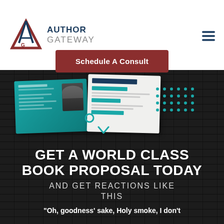[Figure (logo): Author Gateway logo with triangular A/G monogram icon in navy/red and 'AUTHOR GATEWAY' text in dark blue and gray]
[Figure (other): Hamburger menu icon (three horizontal lines) in dark navy blue, top right corner]
Schedule A Consult
[Figure (illustration): Two book proposal document cards overlapping on a dark brick background: left card is teal with document lines and a person photo; right card is white/cream with header and text lines. Teal ring icon and teal dot grid pattern also visible.]
GET A WORLD CLASS BOOK PROPOSAL TODAY
AND GET REACTIONS LIKE THIS
"Oh, goodness' sake, Holy smoke, I don't